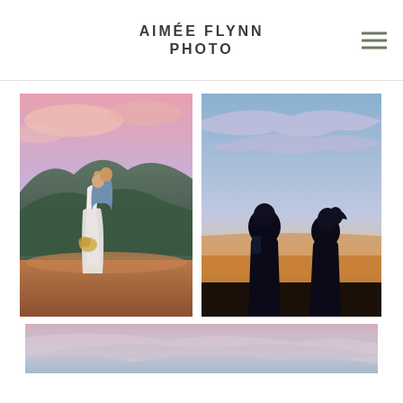AIMÉE FLYNN PHOTO
[Figure (photo): Wedding couple standing on a rocky overlook with mountain and forest panorama behind them under a pink and blue sunset sky. Bride in white lace gown holding bouquet, groom in blue shirt embracing her from behind.]
[Figure (photo): Silhouette of a couple facing each other against a dramatic sunset sky with pink and blue hues and clouds.]
[Figure (photo): Partial view of a landscape with pink sunset clouds, cropped at bottom of page.]